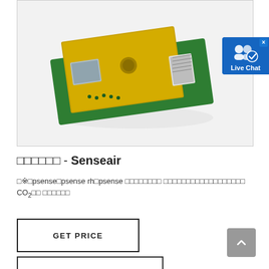[Figure (photo): A gold-colored CO2 sensor module (Senseair) with green PCB board and white connector, photographed on a light gray/white background.]
□□□□□□ - Senseair
□※□psense□psense rh□psense □□□□□□□□ □□□□□□□□□□□□□□□□□□ CO₂□□ □□□□□□
[Figure (other): Live Chat button badge in blue with people icon and checkmark]
GET PRICE